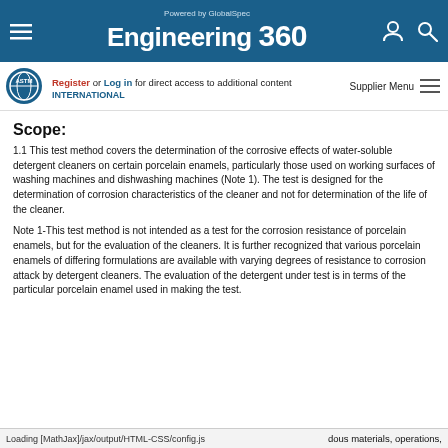Powered by GlobalSpec Engineering 360
Register or Log in for direct access to additional content  Supplier Menu
Scope:
1.1 This test method covers the determination of the corrosive effects of water-soluble detergent cleaners on certain porcelain enamels, particularly those used on working surfaces of washing machines and dishwashing machines (Note 1). The test is designed for the determination of corrosion characteristics of the cleaner and not for determination of the life of the cleaner.
Note 1-This test method is not intended as a test for the corrosion resistance of porcelain enamels, but for the evaluation of the cleaners. It is further recognized that various porcelain enamels of differing formulations are available with varying degrees of resistance to corrosion attack by detergent cleaners. The evaluation of the detergent under test is in terms of the particular porcelain enamel used in making the test.
Loading [MathJax]/jax/output/HTML-CSS/config.js    dous materials, operations,